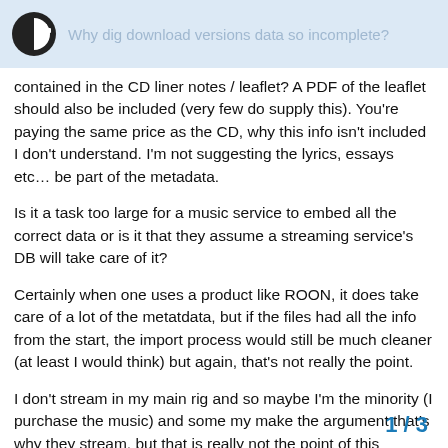Why dig download versions data so incomplete?
contained in the CD liner notes / leaflet? A PDF of the leaflet should also be included (very few do supply this). You're paying the same price as the CD, why this info isn't included I don't understand. I'm not suggesting the lyrics, essays etc… be part of the metadata.
Is it a task too large for a music service to embed all the correct data or is it that they assume a streaming service's DB will take care of it?
Certainly when one uses a product like ROON, it does take care of a lot of the metatdata, but if the files had all the info from the start, the import process would still be much cleaner (at least I would think) but again, that's not really the point.
I don't stream in my main rig and so maybe I'm the minority (I purchase the music) and some my make the argument that's why they stream, but that is really not the point of this question < rant off 😉
1 / 3